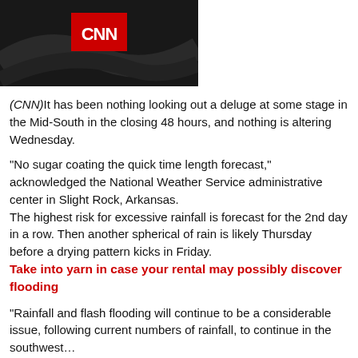[Figure (logo): CNN logo on dark background — red rectangle with white CNN text]
(CNN)It has been nothing looking out a deluge at some stage in the Mid-South in the closing 48 hours, and nothing is altering Wednesday.
“No sugar coating the quick time length forecast,” acknowledged the National Weather Service administrative center in Slight Rock, Arkansas.
The highest risk for excessive rainfall is forecast for the 2nd day in a row. Then another spherical of rain is likely Thursday before a drying pattern kicks in Friday.
Take into yarn in case your rental may possibly discover flooding
“Rainfall and flash flooding will continue to be a considerable issue, following current numbers of rainfall, to continue in the southwest…